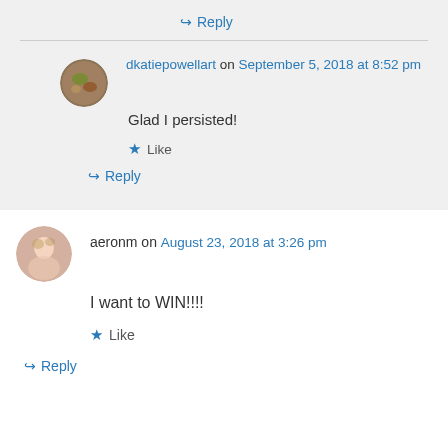↪ Reply
dkatiepowellart on September 5, 2018 at 8:52 pm
Glad I persisted!
★ Like
↪ Reply
aeronm on August 23, 2018 at 3:26 pm
I want to WIN!!!!
★ Like
↪ Reply